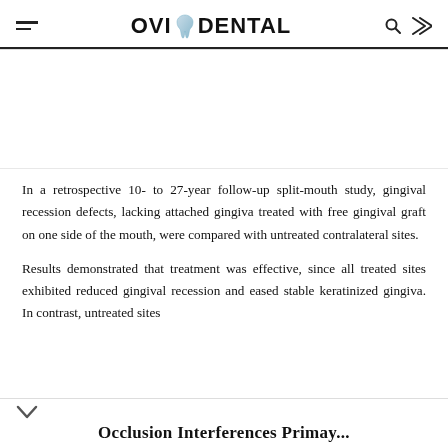OVI DENTAL
In a retrospective 10- to 27-year follow-up split-mouth study, gingival recession defects, lacking attached gingiva treated with free gingival graft on one side of the mouth, were compared with untreated contralateral sites.
Results demonstrated that treatment was effective, since all treated sites exhibited reduced gingival recession and eased stable keratinized gingiva. In contrast, untreated sites
Occlusion Interferences Primary...